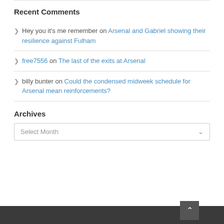Recent Comments
Hey you it's me remember on Arsenal and Gabriel showing their resilience against Fulham
free7556 on The last of the exits at Arsenal
billy bunter on Could the condensed midweek schedule for Arsenal mean reinforcements?
Archives
Select Month